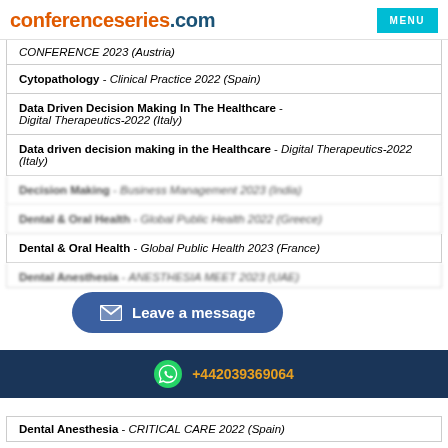conferenceseries.com  MENU
CONFERENCE 2023 (Austria)
Cytopathology - Clinical Practice 2022 (Spain)
Data Driven Decision Making In The Healthcare - Digital Therapeutics-2022 (Italy)
Data driven decision making in the Healthcare - Digital Therapeutics-2022 (Italy)
Decision Making - Business Management 2023 (India)
Dental & Oral Health - Global Public Health 2022 (Greece)
Dental & Oral Health - Global Public Health 2023 (France)
Dental Anesthesia - ANESTHESIA MEET 2023 (UAE)
Dental Anesthesia - CRITICAL CARE 2022 (Spain)